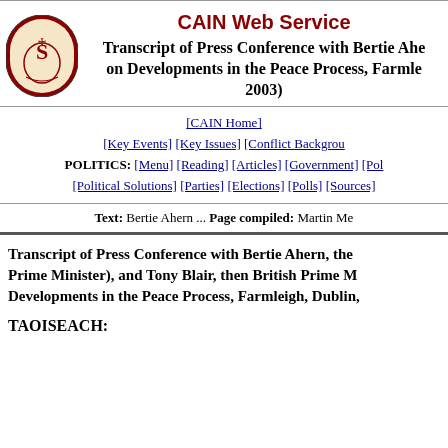CAIN Web Service
Transcript of Press Conference with Bertie Ahern on Developments in the Peace Process, Farmleigh, 2003)
[CAIN Home] [Key Events] [Key Issues] [Conflict Background] POLITICS: [Menu] [Reading] [Articles] [Government] [Political Solutions] [Parties] [Elections] [Polls] [Sources]
Text: Bertie Ahern ... Page compiled: Martin Me
Transcript of Press Conference with Bertie Ahern, then Prime Minister), and Tony Blair, then British Prime Minister, on Developments in the Peace Process, Farmleigh, Dublin,
TAOISEACH: